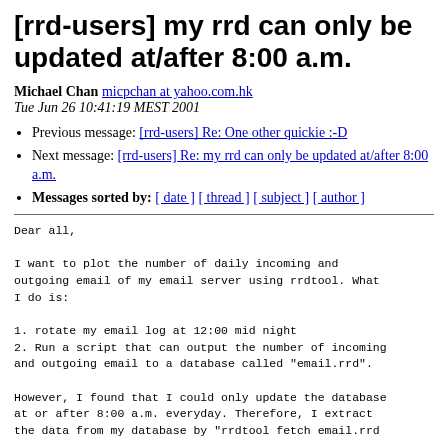[rrd-users] my rrd can only be updated at/after 8:00 a.m.
Michael Chan micpchan at yahoo.com.hk
Tue Jun 26 10:41:19 MEST 2001
Previous message: [rrd-users] Re: One other quickie :-D
Next message: [rrd-users] Re: my rrd can only be updated at/after 8:00 a.m.
Messages sorted by: [ date ] [ thread ] [ subject ] [ author ]
Dear all,

I want to plot the number of daily incoming and
outgoing email of my email server using rrdtool. What
I do is:

1. rotate my email log at 12:00 mid night
2. Run a script that can output the number of incoming
and outgoing email to a database called "email.rrd".

However, I found that I could only update the database
at or after 8:00 a.m. everyday. Therefore, I extract
the data from my database by "rrdtool fetch email.rrd